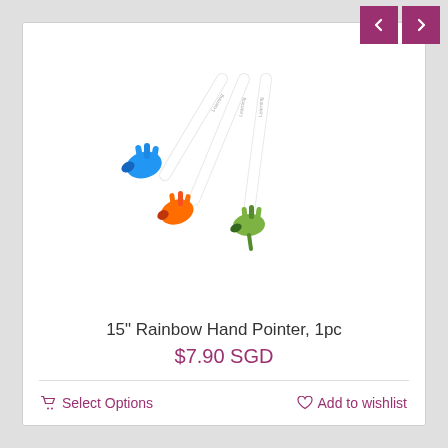[Figure (photo): Three colorful hand pointer sticks with hand-shaped tips in blue, orange, and green colors, white shafts fanned out.]
15" Rainbow Hand Pointer, 1pc
$7.90 SGD
Select Options
Add to wishlist